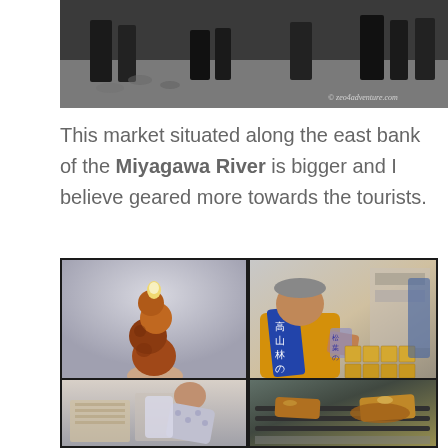[Figure (photo): Top photo showing people standing on a street, black and white style, with watermark 'zeo4adventure.com']
This market situated along the east bank of the Miyagawa River is bigger and I believe geared more towards the tourists.
[Figure (photo): A 2x2 photo grid showing: top-left: food on a skewer stick (yakitori/dango style), top-right: a vendor in orange robe with blue scarf arranging yellow boxed products at a market stall, bottom-left: a person bending over a stall, bottom-right: items on a grill]